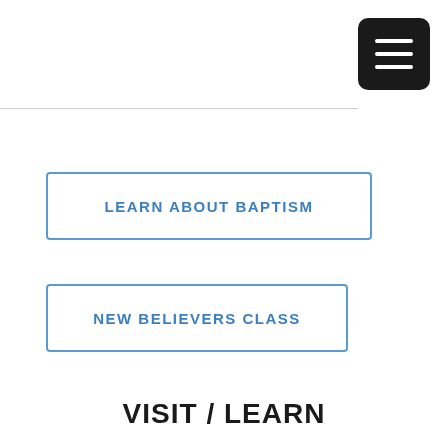[Figure (other): Black rounded square menu/hamburger icon button in top-right corner with three white horizontal lines]
LEARN ABOUT BAPTISM
NEW BELIEVERS CLASS
VISIT / LEARN